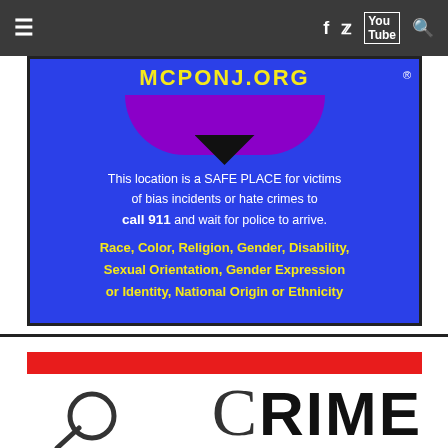Navigation bar with hamburger menu, Facebook, Twitter, YouTube, and Search icons
[Figure (photo): MCPONJ Safe Place sign on blue background. Text: MCPONJ.ORG. This location is a SAFE PLACE for victims of bias incidents or hate crimes to call 911 and wait for police to arrive. Race, Color, Religion, Gender, Disability, Sexual Orientation, Gender Expression or Identity, National Origin or Ethnicity]
[Figure (logo): Crime section header with red bar and large 'CRIME' text with stylized C and magnifying glass illustration]